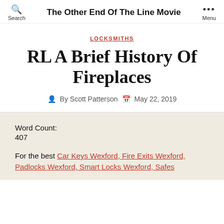Search | The Other End Of The Line Movie | Menu
LOCKSMITHS
RL A Brief History Of Fireplaces
By Scott Patterson  May 22, 2019
Word Count:
407
For the best Car Keys Wexford, Fire Exits Wexford, Padlocks Wexford, Smart Locks Wexford, Safes